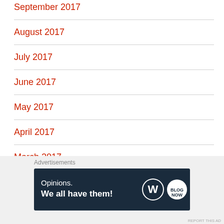September 2017
August 2017
July 2017
June 2017
May 2017
April 2017
March 2017
February 2017
January 2017
Advertisements
[Figure (infographic): WordPress advertisement banner: 'Opinions. We all have them!' with WordPress logo and another circular logo on dark navy background]